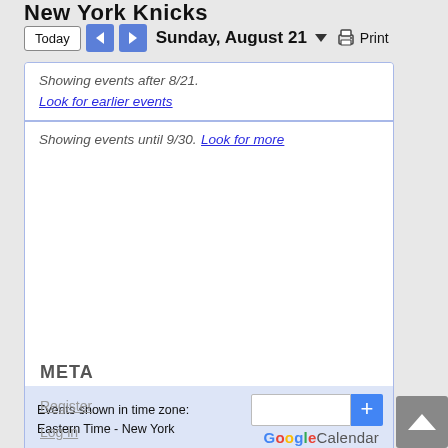New York Knicks
Today  ◀  ▶  Sunday, August 21  ▼  Print
Showing events after 8/21.
Look for earlier events
Showing events until 9/30. Look for more
Events shown in time zone:
Eastern Time - New York
[Figure (logo): Google Calendar logo with input field and plus button]
META
Register
Log in